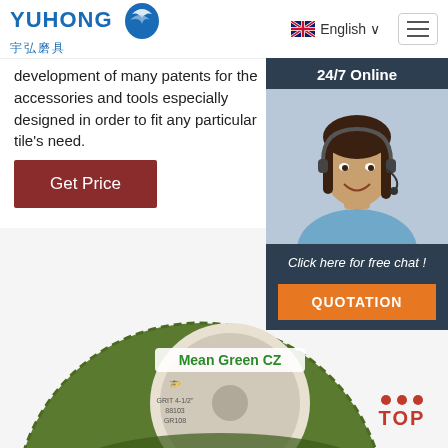YUHONG 宇弘磨具 — English
development of many patents for the accessories and tools especially designed in order to fit any particular tile's need.
Get Price
[Figure (photo): 24/7 Online panel with customer service agent photo, 'Click here for free chat!' text, and QUOTATION button]
[Figure (photo): Green grinding/flap disc product labeled 'Mean Green CZ']
[Figure (other): TOP navigation button with red dots forming an arrow and text TOP]